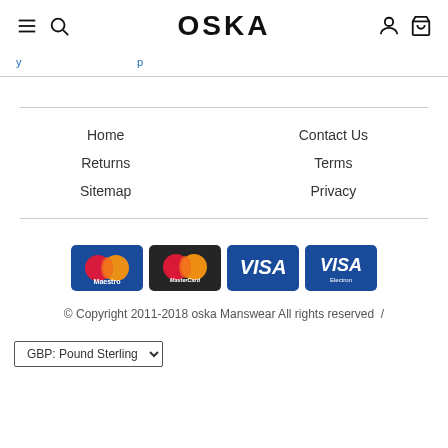OSKA
y ... p ...
Home
Returns
Sitemap
Contact Us
Terms
Privacy
[Figure (logo): Payment method logos: Maestro, MasterCard, Visa, Visa Electron]
© Copyright 2011-2018 oska Manswear All rights reserved  /
GBP: Pound Sterling